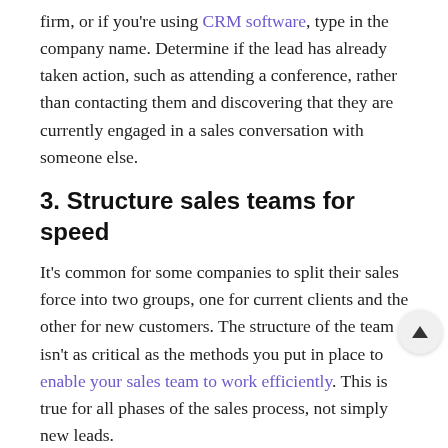firm, or if you're using CRM software, type in the company name. Determine if the lead has already taken action, such as attending a conference, rather than contacting them and discovering that they are currently engaged in a sales conversation with someone else.
3. Structure sales teams for speed
It's common for some companies to split their sales force into two groups, one for current clients and the other for new customers. The structure of the team isn't as critical as the methods you put in place to enable your sales team to work efficiently. This is true for all phases of the sales process, not simply new leads.
What questions should you ask yourself in